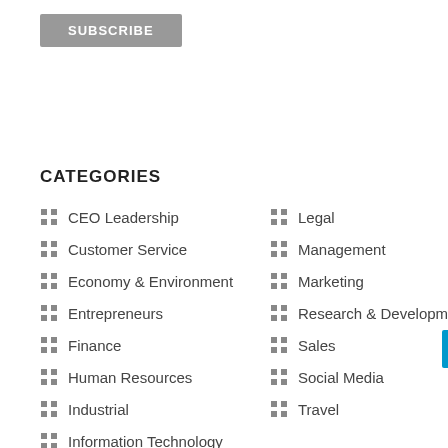[Figure (other): Subscribe button - grey rectangular button with white bold text SUBSCRIBE]
CATEGORIES
CEO Leadership
Legal
Customer Service
Management
Economy & Environment
Marketing
Entrepreneurs
Research & Development
Finance
Sales
Human Resources
Social Media
Industrial
Travel
Information Technology
RECENT POSTS